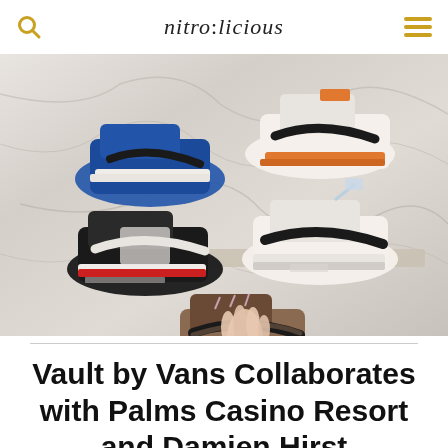nitro:licious
[Figure (photo): A hand holding multiple Air Jordan 1 sneakers displayed against a white marble background. Sneakers include Travis Scott Jordan 1, Off-White Jordan 1, and other editions in blue, white, red, black, and brown colorways.]
Vault by Vans Collaborates with Palms Casino Resort and Damien Hirst